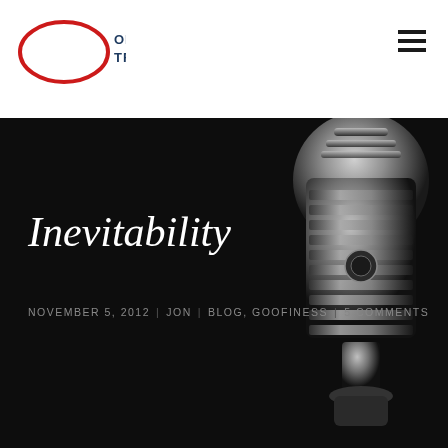[Figure (logo): Jon of All Trades logo: red oval with 'Jon' in white italic text, followed by bold dark blue 'OF ALL TRADES' text]
[Figure (illustration): Hamburger/menu icon (three horizontal black lines) in top right corner]
Inevitability
NOVEMBER 5, 2012  |  JON  |  BLOG, GOOFINESS  |  5 COMMENTS
[Figure (photo): Vintage silver/chrome microphone on dark black background, positioned on the right side of the hero section]